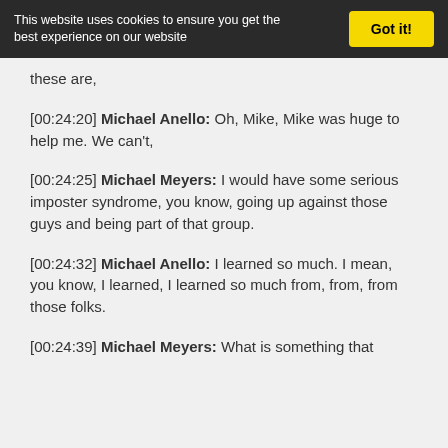This website uses cookies to ensure you get the best experience on our website
Got it!
these are,
[00:24:20] Michael Anello: Oh, Mike, Mike was huge to help me. We can't,
[00:24:25] Michael Meyers: I would have some serious imposter syndrome, you know, going up against those guys and being part of that group.
[00:24:32] Michael Anello: I learned so much. I mean, you know, I learned, I learned so much from, from, from those folks.
[00:24:39] Michael Meyers: What is something that